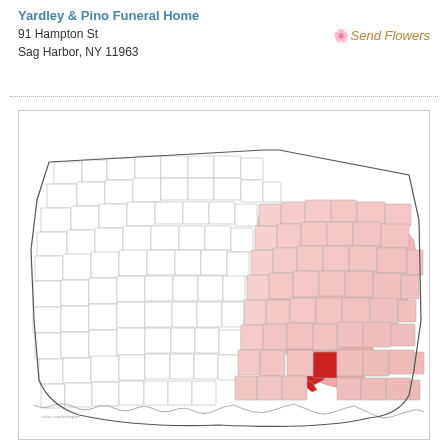Yardley & Pino Funeral Home
91 Hampton St
Sag Harbor, NY 11963
🌸 Send Flowers
[Figure (map): Map of Connecticut towns/municipalities. The eastern portion of the state is shaded in light pink (New London County area), with one specific town highlighted in red (dark red) in the lower central-eastern area.]